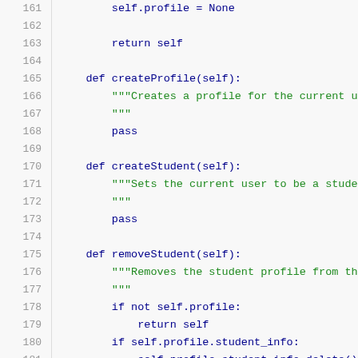Code listing lines 161-181: Python class methods including createProfile, createStudent, and removeStudent
161     self.profile = None
162
163     return self
164
165     def createProfile(self):
166         """Creates a profile for the current user.
167         """
168         pass
169
170     def createStudent(self):
171         """Sets the current user to be a student fo
172         """
173         pass
174
175     def removeStudent(self):
176         """Removes the student profile from the cur
177         """
178         if not self.profile:
179             return self
180         if self.profile.student_info:
181             self.profile.student_info.delete()